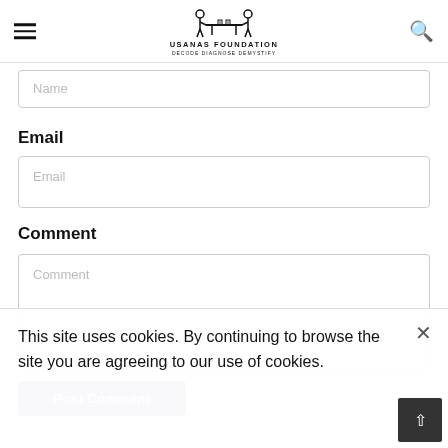USANAS FOUNDATION — DECODE DIAGNOSE DEMYSTIFY
Name
Email
Email
Comment
Comment
Post Comment
This site uses cookies. By continuing to browse the site you are agreeing to our use of cookies.